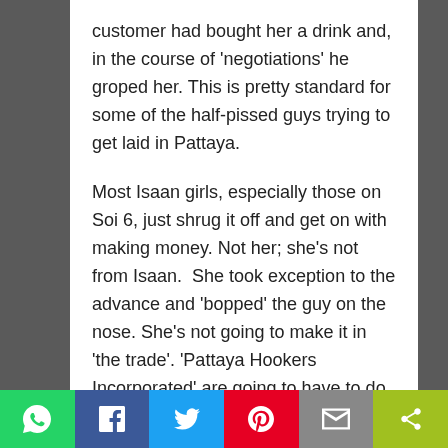customer had bought her a drink and, in the course of ‘negotiations’ he groped her. This is pretty standard for some of the half-pissed guys trying to get laid in Pattaya.
Most Isaan girls, especially those on Soi 6, just shrug it off and get on with making money. Not her; she’s not from Isaan.  She took exception to the advance and ‘bopped’ the guy on the nose. She’s not going to make it in ‘the trade’. ‘Pattaya Hookers Incorporated’ are going to have to do without her.
“What Mamasan say” I asked.
“She not happy” (I bet she wasn’t, I thought